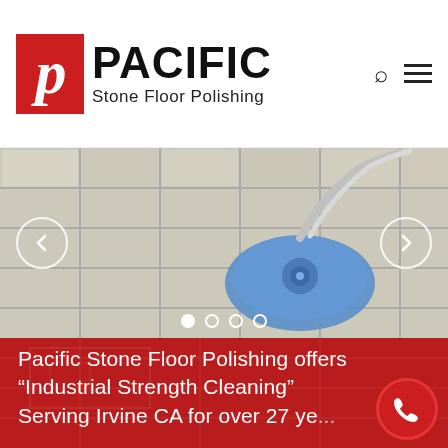[Figure (logo): Pacific Stone Floor Polishing logo: red square with italic white P, followed by PACIFIC in bold black and 'Stone Floor Polishing' subtitle]
[Figure (photo): Slider showing a floor polishing machine (blue rotary buffer) on tile floor, with left/right navigation arrows and 4 slide indicator dots]
Pacific Stone Floor Polishing offers “Industrial Strength Cleaning” Serving Irvine CA for over 27 ye...